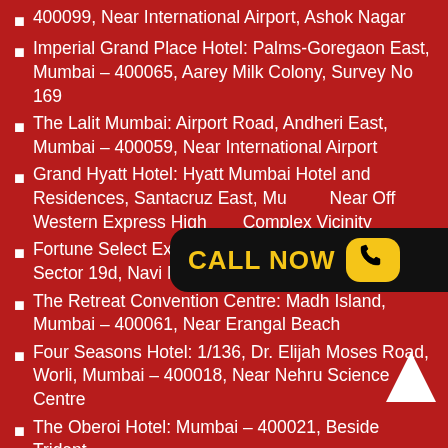400099, Near International Airport, Ashok Nagar
Imperial Grand Place Hotel: Palms-Goregaon East, Mumbai – 400065, Aarey Milk Colony, Survey No 169
The Lalit Mumbai: Airport Road, Andheri East, Mumbai – 400059, Near International Airport
Grand Hyatt Hotel: Hyatt Mumbai Hotel and Residences, Santacruz East, Mu... Near Off Western Express High... Complex Vicinity
[Figure (infographic): CALL NOW button with phone icon in black rounded box with yellow text]
Fortune Select Exotica: Palm Beach Road, Vashi Sector 19d, Navi Mumbai – 400703, APMC Market
The Retreat Convention Centre: Madh Island, Mumbai – 400061, Near Erangal Beach
Four Seasons Hotel: 1/136, Dr. Elijah Moses Road, Worli, Mumbai – 400018, Near Nehru Science Centre
The Oberoi Hotel: Mumbai – 400021, Beside Trident